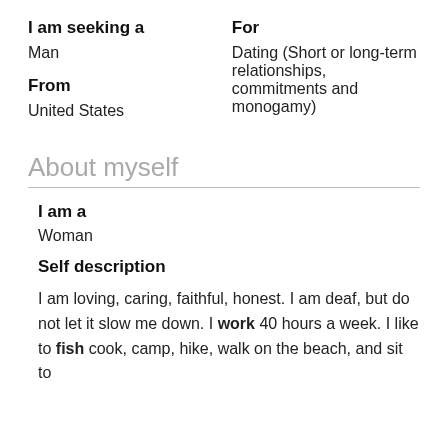I am seeking a
Man
From
United States
For
Dating (Short or long-term relationships, commitments and monogamy)
About myself
I am a
Woman
Self description
I am loving, caring, faithful, honest. I am deaf, but do not let it slow me down. I work 40 hours a week. I like to fish cook, camp, hike, walk on the beach, and sit to